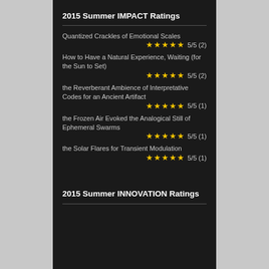2015 Summer IMPACT Ratings
Quantized Crackles of Emotional Scales ★★★★★ 5/5 (2)
How to Have a Natural Experience, Waiting (for the Sun to Set) ★★★★★ 5/5 (2)
the Reverberant Ambience of Interpretative Codes for an Ancient Artifact ★★★★★ 5/5 (1)
the Frozen Air Evoked the Analogical Still of Ephemeral Swarms ★★★★★ 5/5 (1)
the Solar Flares for Transient Modulation ★★★★★ 5/5 (1)
2015 Summer INNOVATION Ratings